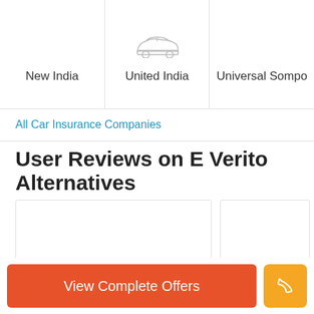[Figure (other): Three insurance company cells: New India, United India (with car icon), Universal Sompo]
All Car Insurance Companies
User Reviews on E Verito Alternatives
[Figure (other): Two review card placeholders side by side]
View Complete Offers